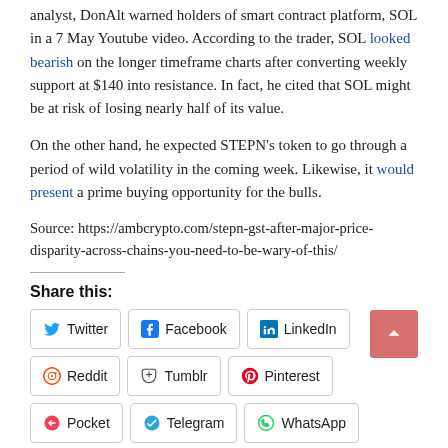analyst, DonAlt warned holders of smart contract platform, SOL in a 7 May Youtube video. According to the trader, SOL looked bearish on the longer timeframe charts after converting weekly support at $140 into resistance. In fact, he cited that SOL might be at risk of losing nearly half of its value.
On the other hand, he expected STEPN's token to go through a period of wild volatility in the coming week. Likewise, it would present a prime buying opportunity for the bulls.
Source: https://ambcrypto.com/stepn-gst-after-major-price-disparity-across-chains-you-need-to-be-wary-of-this/
Share this:
Twitter Facebook LinkedIn Reddit Tumblr Pinterest Pocket Telegram WhatsApp Skype